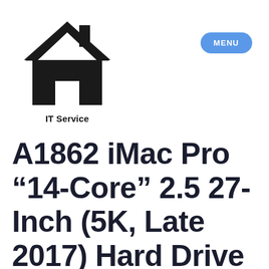[Figure (logo): Black house/home icon representing IT Service logo]
IT Service
MENU
A1862 iMac Pro —14-Core― 2.5 27-Inch (5K, Late 2017) Hard Drive Services